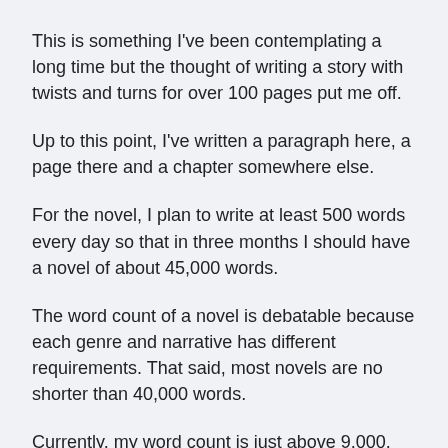This is something I've been contemplating a long time but the thought of writing a story with twists and turns for over 100 pages put me off.
Up to this point, I've written a paragraph here, a page there and a chapter somewhere else.
For the novel, I plan to write at least 500 words every day so that in three months I should have a novel of about 45,000 words.
The word count of a novel is debatable because each genre and narrative has different requirements. That said, most novels are no shorter than 40,000 words.
Currently, my word count is just above 9,000. Technically, it's already a novella.